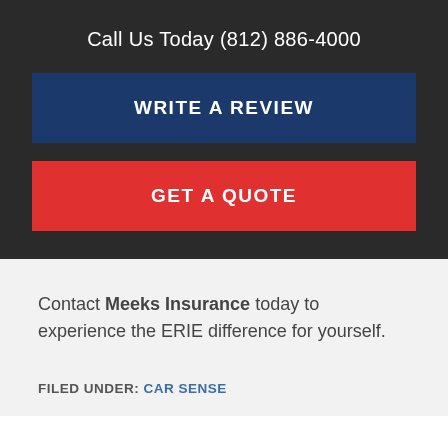Call Us Today (812) 886-4000
WRITE A REVIEW
GET A QUOTE
Contact Meeks Insurance today to experience the ERIE difference for yourself.
FILED UNDER: CAR SENSE